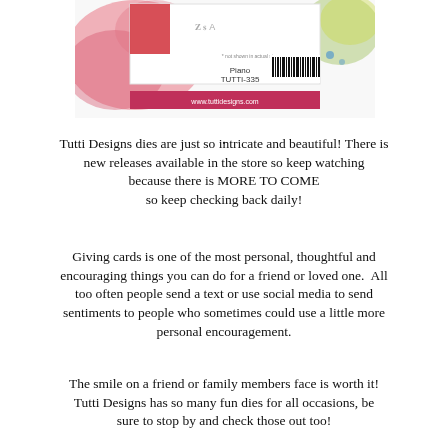[Figure (photo): Product packaging image for Tutti Designs Piano die (TUTTI-335) with colorful watercolor background, barcode, and website www.tuttidesigns.com]
.
Tutti Designs dies are just so intricate and beautiful! There is new releases available in the store so keep watching because there is MORE TO COME so keep checking back daily!
Giving cards is one of the most personal, thoughtful and encouraging things you can do for a friend or loved one.  All too often people send a text or use social media to send sentiments to people who sometimes could use a little more personal encouragement.
The smile on a friend or family members face is worth it! Tutti Designs has so many fun dies for all occasions, be sure to stop by and check those out too!